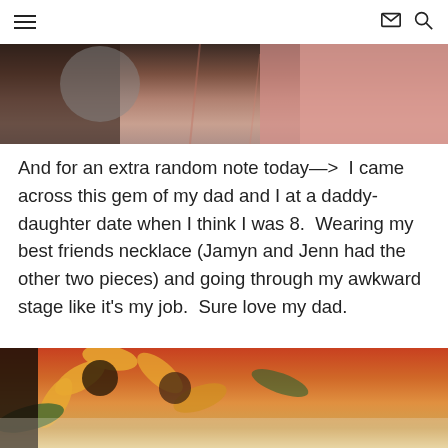≡  ✉  🔍
[Figure (photo): Top portion of a photo showing clothing/fabric items, partially cropped]
And for an extra random note today—>  I came across this gem of my dad and I at a daddy-daughter date when I think I was 8.  Wearing my best friends necklace (Jamyn and Jenn had the other two pieces) and going through my awkward stage like it's my job.  Sure love my dad.
[Figure (photo): Bottom portion of a photo showing a sunflower-patterned fabric or tablecloth, partially cropped at bottom of page]